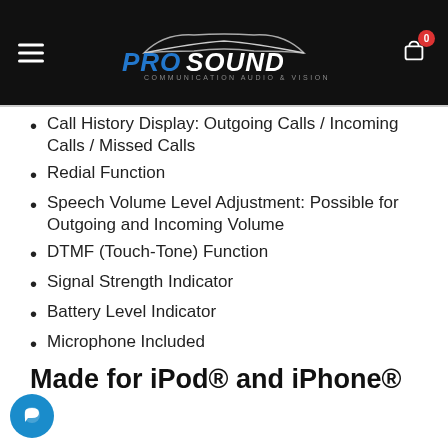ProSound Communication Audio & Vision
Call History Display: Outgoing Calls / Incoming Calls / Missed Calls
Redial Function
Speech Volume Level Adjustment: Possible for Outgoing and Incoming Volume
DTMF (Touch-Tone) Function
Signal Strength Indicator
Battery Level Indicator
Microphone Included
Made for iPod® and iPhone®